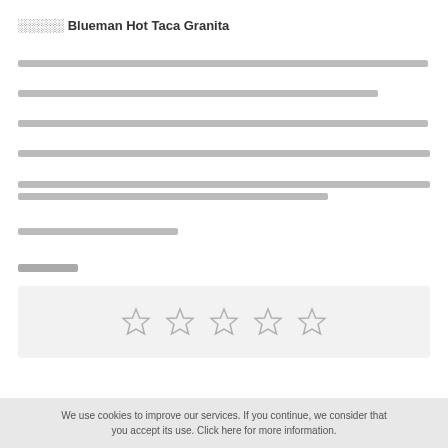░░░░░ Blueman Hot Taca Granita
░░░░░░░░░░░░░░░░░░░░░░░░░░░░░░░░░░░░░░░░░░░░░░░░░░░░░░░░░░░░░░░░░░░░░░░░░░░░░░░░░░░░░░░░░░░
░░░░░░░░░░░░░░░░░░░░░░░░░░░░░░░░░░░░░░░░░░░░░░░░░░░░░░░░░░░░░░░░░░░░░░░░░░░░░░░░░░░░
░░░░░░░░░░░░░░░░░░░░░░░░░░░░░░░░░░░░░░░░░░░░░░░░░░░░░░░░░░░░░░░░░░░░░░░░░░░░░░░░░░░░░░░░░░░░
░░░░░░░░░░░░░░░░░░░░░░░░░░░░░░░░░░░░░░░░░░░░░░░░░░░░░░░░░░░░░░░░░░░░░░░░░░░░░░░░░░░░░░░░░░░░░░░
░░░░░░░░░░░░░░░░░░░░░░░░░░░░░░░░░░░░░░░░░░░░░░░░░░░░░░░░░░░░░░░░░░░░░░░░░░ ░░░░░░░░░░░░░░░░░░░░░░░░░░░░░░░░░░░░░░░░░░░░░░░░░░░░░░░░░░░░░░░░░░░░░░░░░░░░░░░░░░░░░░░
░░░░░░░░░░░░░░░░░░░░░░░░░░░░░░░░░░░░░░░
░░░░░░░░
[Figure (other): Five empty star rating icons in a light grey box]
We use cookies to improve our services. If you continue, we consider that you accept its use. Click here for more information.